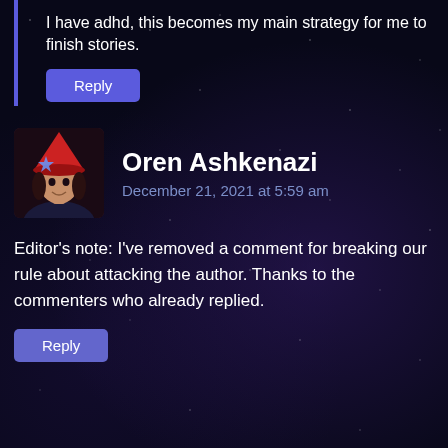I have adhd, this becomes my main strategy for me to finish stories.
Reply
Oren Ashkenazi
December 21, 2021 at 5:59 am
Editor's note: I've removed a comment for breaking our rule about attacking the author. Thanks to the commenters who already replied.
Reply